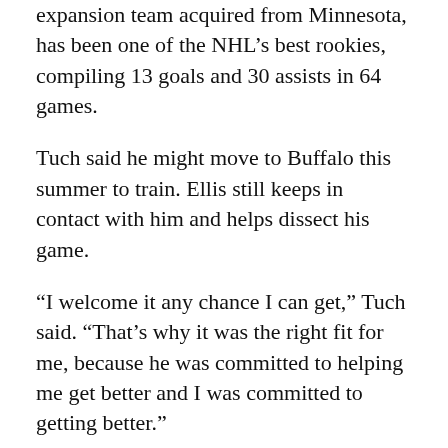expansion team acquired from Minnesota, has been one of the NHL's best rookies, compiling 13 goals and 30 assists in 64 games.
Tuch said he might move to Buffalo this summer to train. Ellis still keeps in contact with him and helps dissect his game.
“I welcome it any chance I can get,” Tuch said. “That’s why it was the right fit for me, because he was committed to helping me get better and I was committed to getting better.”
Tuch’s younger brother, Luke, plays with the Junior Sabres’ 16-and-under midget team, which is coached by former Sabres winger Patrick Kaleta. Luke Tuch also lives with former Sabres tough guy Andrew Peters.